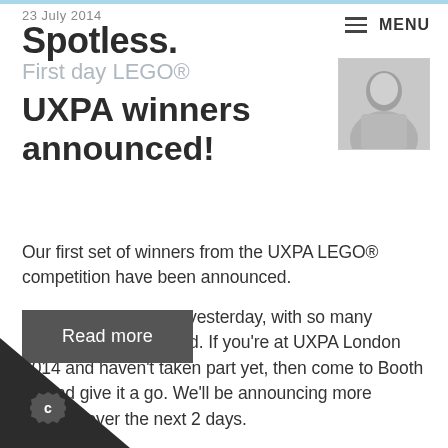23 July 2014 Spotless. First day LEGO®
UXPA winners announced!
Our first set of winners from the UXPA LEGO® competition have been announced.
It was a fantastic day yesterday, with so many people getting involved. If you're at UXPA London 2014 and haven't taken part yet, then come to Booth 24 and give it a go. We'll be announcing more winners over the next 2 days.
[Figure (photo): Black and white portrait photo of a person]
Read more